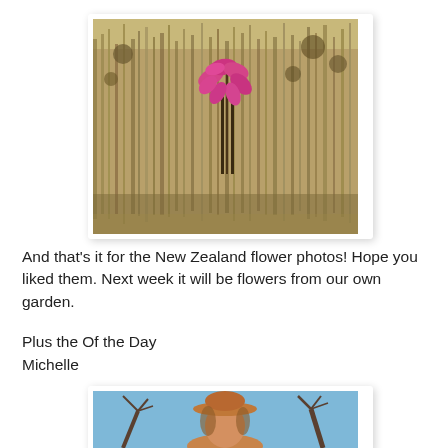[Figure (photo): A pink flowering plant (likely a Belladonna lily or Naked Lady) in bloom amid dry grassy field with dried seed heads, New Zealand wildflowers]
And that's it for the New Zealand flower photos! Hope you liked them. Next week it will be flowers from our own garden.
Plus the Of the Day
Michelle
[Figure (photo): A woman wearing a wide-brimmed hat outdoors with bare winter trees and blue sky in the background]